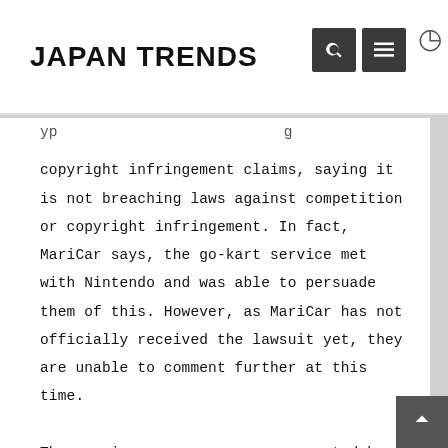JAPAN TRENDS
copyright infringement claims, saying it is not breaching laws against competition or copyright infringement. In fact, MariCar says, the go-kart service met with Nintendo and was able to persuade them of this. However, as MariCar has not officially received the lawsuit yet, they are unable to comment further at this time.
The massive press coverage generated by Nintendo's surprise statement last week also meant that MariCar's website crashed and its